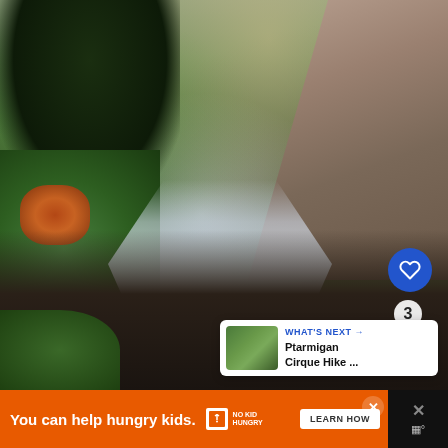[Figure (photo): Outdoor mountain landscape photograph showing a waterfall/stream cascading over dark rocks, surrounded by green conifers and autumn-colored foliage on the left, with a rocky mountain slope on the upper right. The water is silky-smooth suggesting a long exposure. Green moss covers some rocks in the foreground.]
WHAT'S NEXT → Ptarmigan Cirque Hike ...
You can help hungry kids.
[Figure (logo): No Kid Hungry logo - fork icon with NO KID HUNGRY text]
LEARN HOW